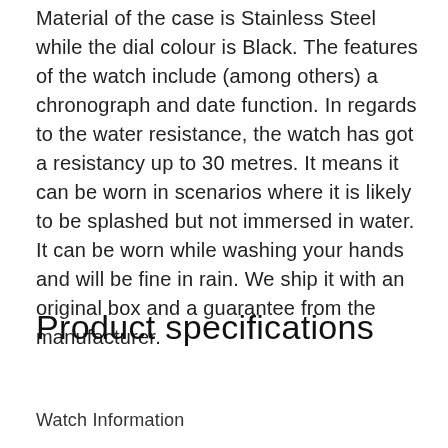Material of the case is Stainless Steel while the dial colour is Black. The features of the watch include (among others) a chronograph and date function. In regards to the water resistance, the watch has got a resistancy up to 30 metres. It means it can be worn in scenarios where it is likely to be splashed but not immersed in water. It can be worn while washing your hands and will be fine in rain. We ship it with an original box and a guarantee from the manufacturer.
Product specifications
Watch Information